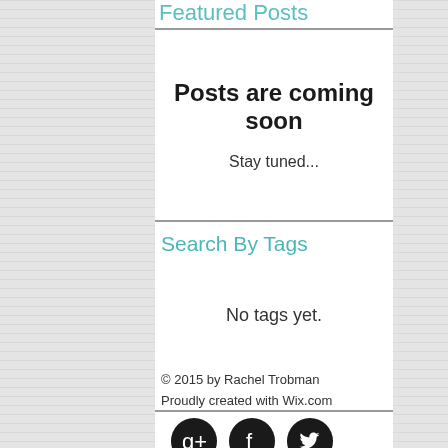Featured Posts
Posts are coming soon
Stay tuned...
Search By Tags
No tags yet.
© 2015 by Rachel Trobman
Proudly created with Wix.com